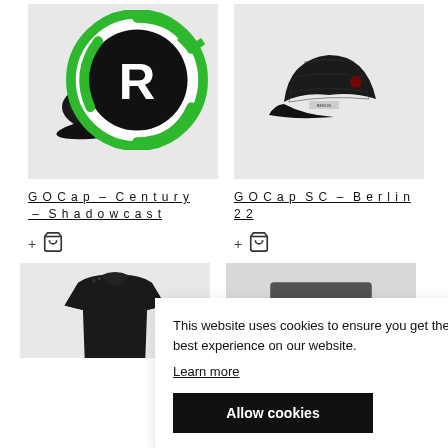[Figure (photo): Black Ciele GOCap Century Shadowcast running cap on grey background with recycled materials badge (green R symbol) in top right corner]
[Figure (photo): Black Ciele GOCap SC Berlin 22 mesh running cap on grey background]
GOCap – Century – Shadowcast
GOCap SC – Berlin 22
[Figure (photo): Black athletic short-sleeve shirt on grey background (partially obscured by cookie banner)]
This website uses cookies to ensure you get the best experience on our website. Learn more Allow cookies